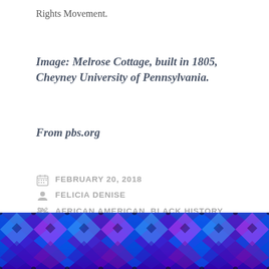Rights Movement.
Image: Melrose Cottage, built in 1805, Cheyney University of Pennsylvania.
From pbs.org
FEBRUARY 20, 2018
FELICIA DENISE
AFRICAN AMERICAN, BLACK HISTORY, HBCUS, JEWISH
LEAVE A COMMENT
[Figure (photo): Decorative blue and purple kaleidoscopic pattern image strip at the bottom of the page.]